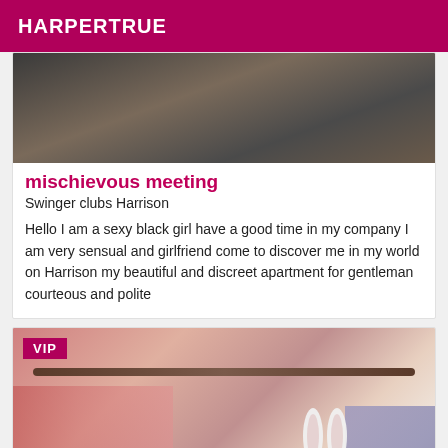HARPERTRUE
[Figure (photo): Close-up photo, partially cropped, dark background]
mischievous meeting
Swinger clubs Harrison
Hello I am a sexy black girl have a good time in my company I am very sensual and girlfriend come to discover me in my world on Harrison my beautiful and discreet apartment for gentleman courteous and polite
[Figure (photo): Photo with VIP badge, curtain rod, pink curtains, bunny ears visible]